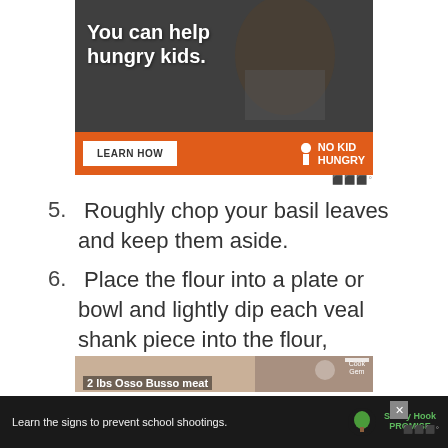[Figure (photo): Ad banner for No Kid Hungry with a child eating and orange bar with LEARN HOW button and No Kid Hungry logo]
5. Roughly chop your basil leaves and keep them aside.
6. Place the flour into a plate or bowl and lightly dip each veal shank piece into the flour, allowing it to coat each side.
[Figure (photo): Partial photo of food prep with text '2 lbs Osso Busso meat' and Cook Gem logo]
[Figure (photo): Footer ad for Sandy Hook Promise: Learn the signs to prevent school shootings]